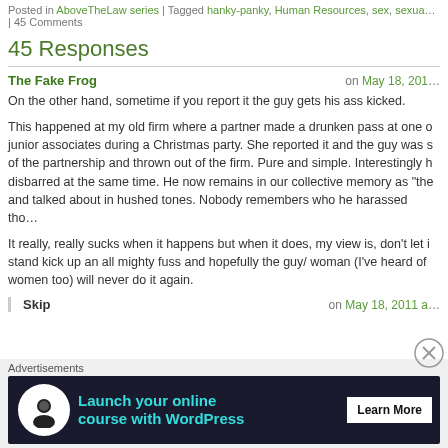Posted in AboveTheLaw series | Tagged hanky-panky, Human Resources, sex, sexua... | 45 Comments
45 Responses
The Fake Frog
on May 18, 201...
On the other hand, sometime if you report it the guy gets his ass kicked.

This happened at my old firm where a partner made a drunken pass at one o junior associates during a Christmas party. She reported it and the guy was s of the partnership and thrown out of the firm. Pure and simple. Interestingly h disbarred at the same time. He now remains in our collective memory as "the and talked about in hushed tones. Nobody remembers who he harassed tho...

It really, really sucks when it happens but when it does, my view is, don't let i stand kick up an all mighty fuss and hopefully the guy/ woman (I've heard of women too) will never do it again.
Skip
on May 18, 2011 a...
[Figure (other): Advertisement banner for WordPress online course with Launch your online course with WordPress and Learn More button]